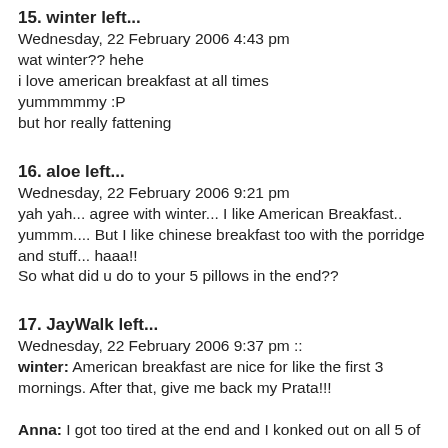15. winter left...
Wednesday, 22 February 2006 4:43 pm
wat winter?? hehe
i love american breakfast at all times
yummmmmy :P
but hor really fattening
16. aloe left...
Wednesday, 22 February 2006 9:21 pm
yah yah... agree with winter... I like American Breakfast.. yummm.... But I like chinese breakfast too with the porridge and stuff... haaa!!
So what did u do to your 5 pillows in the end??
17. JayWalk left...
Wednesday, 22 February 2006 9:37 pm ::
winter: American breakfast are nice for like the first 3 mornings. After that, give me back my Prata!!!

Anna: I got too tired at the end and I konked out on all 5 of